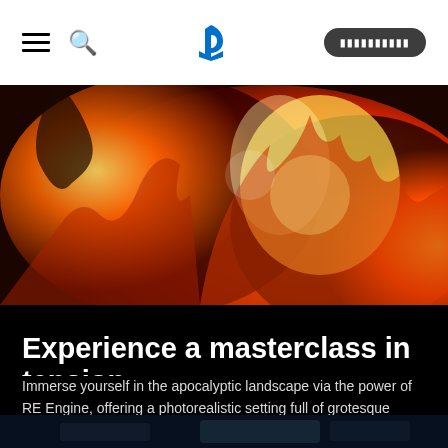PlayStation navigation bar with hamburger menu, search, PlayStation logo, and sign-in button
[Figure (photo): Fire/explosion scene from a video game, showing orange and red flames with a dark creature silhouette]
Experience a masterclass in tension
Immerse yourself in the apocalyptic landscape via the power of RE Engine, offering a photorealistic setting full of grotesque zombies, brutal creatures, and a persistent supernatural hunter who lurks in the shadows.
[Figure (photo): Dark blue-tinted scene showing screens or monitors in a dimly lit environment]